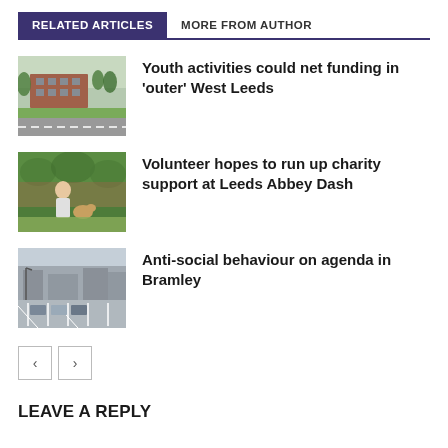RELATED ARTICLES
MORE FROM AUTHOR
[Figure (photo): Exterior view of a red brick building with green lawn and road in foreground]
Youth activities could net funding in ‘outer’ West Leeds
[Figure (photo): Person with a dog in front of a green hedge, outdoors]
Volunteer hopes to run up charity support at Leeds Abbey Dash
[Figure (photo): Aerial or street-level view of a car park with road markings and buildings in background]
Anti-social behaviour on agenda in Bramley
LEAVE A REPLY